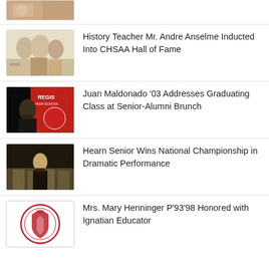[Figure (photo): Partially visible cropped photo at top of page]
History Teacher Mr. Andre Anselme Inducted Into CHSAA Hall of Fame
[Figure (photo): Three people posing together at an event]
Juan Maldonado '03 Addresses Graduating Class at Senior-Alumni Brunch
[Figure (photo): Man speaking at podium with Regis High School banner]
Hearn Senior Wins National Championship in Dramatic Performance
[Figure (photo): Young man in suit at formal event]
Mrs. Mary Henninger P'93'98 Honored with Ignatian Educator
[Figure (logo): Regis High School circular seal/logo]